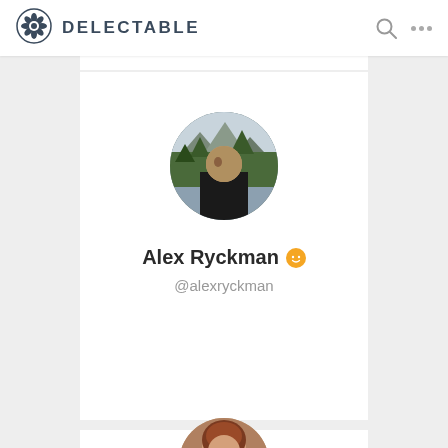[Figure (screenshot): Delectable app logo - snowflake/flower icon in dark blue-grey]
DELECTABLE
[Figure (photo): Circular profile photo of Alex Ryckman - man outdoors with trees and misty mountains in background]
Alex Ryckman
@alexryckman
[Figure (photo): Partial circular profile photo of a second user - woman with reddish-brown hair, partially cropped at bottom of page]